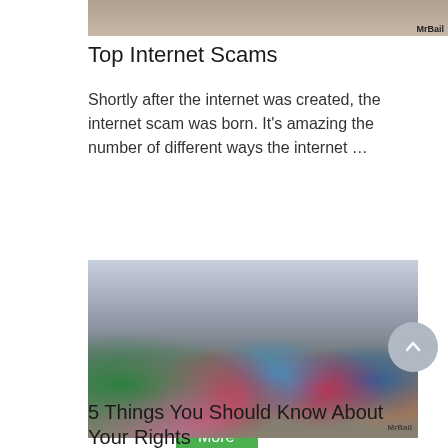[Figure (photo): Partial image at top of page, appears to be people shaking hands with MrBail watermark]
Top Internet Scams
Shortly after the internet was created, the internet scam was born. It's amazing the number of different ways the internet …
[Figure (other): Green Read More button]
[Figure (photo): Group photo of diverse young people smiling outdoors with cloudy sky background, MrBail watermark]
5 Things You Should Know About Your Rights